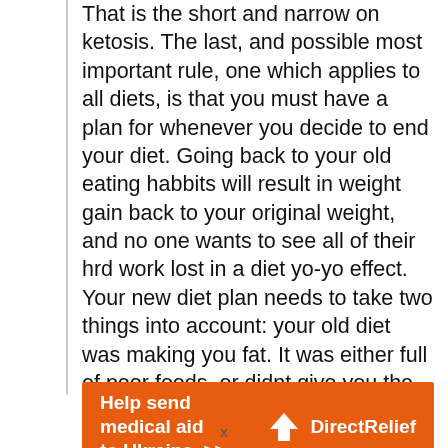That is the short and narrow on ketosis. The last, and possible most important rule, one which applies to all diets, is that you must have a plan for whenever you decide to end your diet. Going back to your old eating habbits will result in weight gain back to your original weight, and no one wants to see all of their hrd work lost in a diet yo-yo effect. Your new diet plan needs to take two things into account: your old diet was making you fat. It was either full of poor foods, or didnt give you the nutrients
[Figure (other): Orange advertisement banner reading 'Help send medical aid to Ukraine >>' with Direct Relief logo on the right]
x